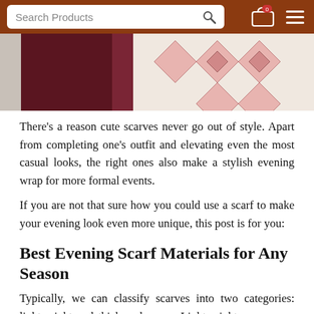[Figure (screenshot): Brown navigation header bar with a search box labeled 'Search Products', a search icon, a shopping cart icon, and a hamburger menu icon.]
[Figure (photo): Partial photo of a person wearing a patterned scarf with geometric diamond designs in pink, white, and dark colors, and a dark maroon top.]
There's a reason cute scarves never go out of style. Apart from completing one's outfit and elevating even the most casual looks, the right ones also make a stylish evening wrap for more formal events.
If you are not that sure how you could use a scarf to make your evening look even more unique, this post is for you:
Best Evening Scarf Materials for Any Season
Typically, we can classify scarves into two categories: lightweight and thick and warm. Lightweight scarves are the most commonly used for evening use, especially for the summer season. They are light and thin but can keep the wearer's neck warm. These scarves are also perfect for wrapping since they have the correct size and fit. Thick and warm scarves, on the other hand, are best worn in the